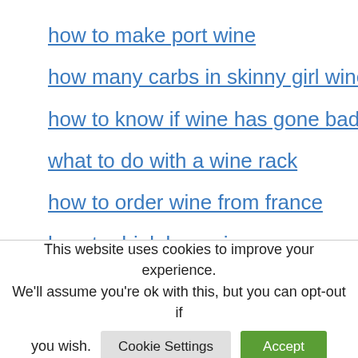how to make port wine
how many carbs in skinny girl wine
how to know if wine has gone bad
what to do with a wine rack
how to order wine from france
how to drink less wine
where can i buy beach colada wine
how to get wine of zamorak
This website uses cookies to improve your experience. We'll assume you're ok with this, but you can opt-out if you wish.
Cookie Settings | Accept